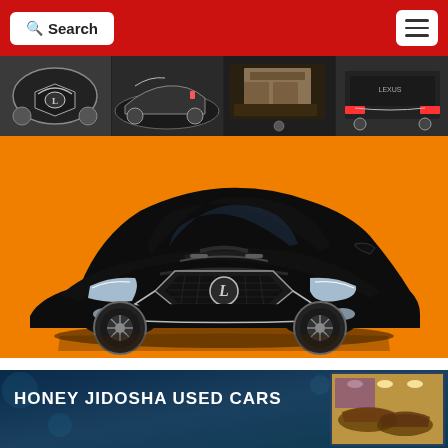Search | [menu]
[Figure (photo): Thumbnail strip showing multiple views of a black Lexus car: front grille, side, interior, rear]
[Figure (photo): Main large photo of a black Lexus sedan on an orange background, front three-quarter view showing the signature spindle grille]
[Figure (photo): Bottom banner for Honey Jidosha Used Cars dealership with interior showroom photo on right side]